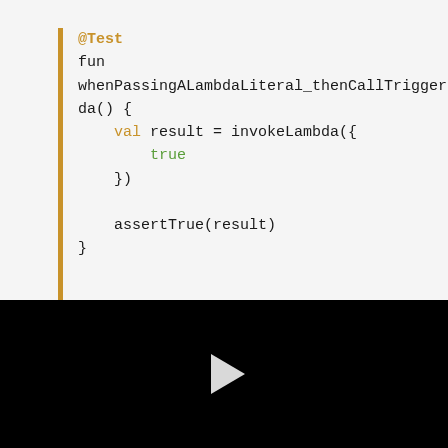[Figure (screenshot): Code editor screenshot showing a Kotlin test function with @Test annotation, function named whenPassingALambdaLiteral_thenCallTriggerLambda, with val result = invokeLambda({ true }), and assertTrue(result). Syntax highlighting: @Test and val in gold/amber, true in green.]
[Figure (screenshot): Black video panel with a white play button triangle in the center.]